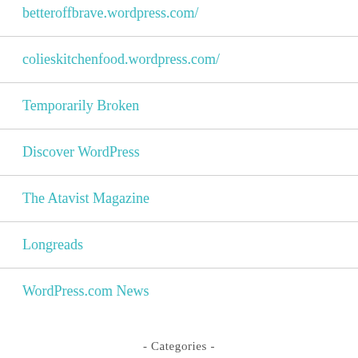betteroffbrave.wordpress.com/
colieskitchenfood.wordpress.com/
Temporarily Broken
Discover WordPress
The Atavist Magazine
Longreads
WordPress.com News
- Categories -
About (1)